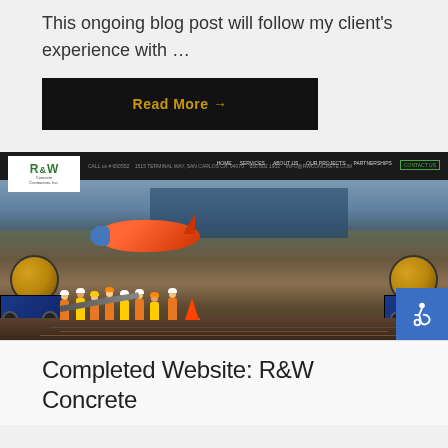This ongoing blog post will follow my client's experience with …
Read More →
[Figure (screenshot): Screenshot of R&W Concrete Contractors, Inc. website showing their logo and navigation bar, with a background photo of a construction site featuring concrete mixer trucks, workers in safety vests, and an airplane at what appears to be an airport construction project.]
Completed Website: R&W Concrete